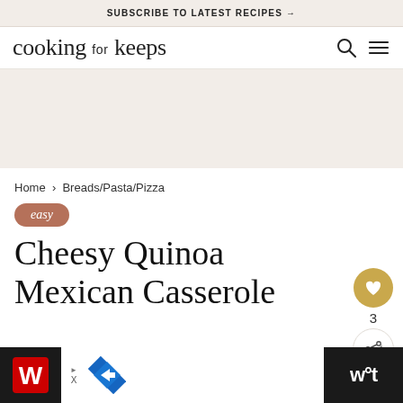SUBSCRIBE TO LATEST RECIPES →
cooking for keeps
[Figure (screenshot): Advertisement banner area (beige/tan background, empty ad slot)]
Home › Breads/Pasta/Pizza
easy
Cheesy Quinoa Mexican Casserole
[Figure (infographic): Side action buttons: heart/save button (gold circle), count '3', share button (white circle with share icon)]
[Figure (screenshot): Bottom advertisement bar: dark left panel, Walgreens red W logo, navigation arrow diamond logo, dark right panel with 'w°t' text]